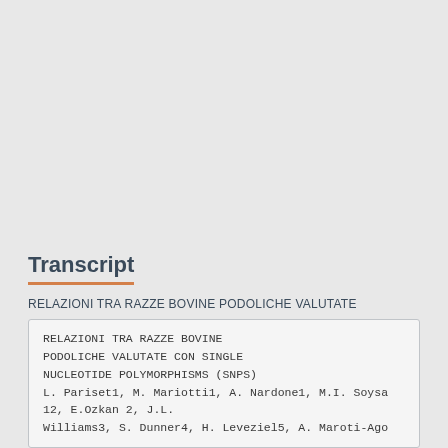Transcript
RELAZIONI TRA RAZZE BOVINE PODOLICHE VALUTATE
RELAZIONI TRA RAZZE BOVINE PODOLICHE VALUTATE CON SINGLE NUCLEOTIDE POLYMORPHISMS (SNPS) L. Pariset1, M. Mariotti1, A. Nardone1, M.I. Soysa12, E.Ozkan 2, J.L. Williams3, S. Dunner4, H. Leveziel5, A. Maroti-Ago